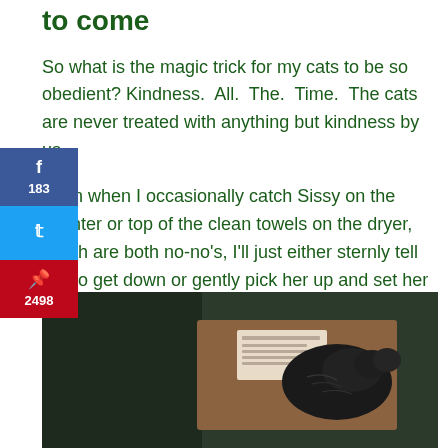to come
So what is the magic trick for my cats to be so obedient? Kindness. All. The. Time. The cats are never treated with anything but kindness by us.
Even when I occasionally catch Sissy on the counter or top of the clean towels on the dryer, which are both no-no's, I'll just either sternly tell her to get down or gently pick her up and set her on the floor and tell her firmly she knows better. We never chase or swat at them with our hands, the broom, or anything else. Ever.
[Figure (photo): A cat curled up or resting inside or on top of a cardboard box, photographed in low light against a dark background.]